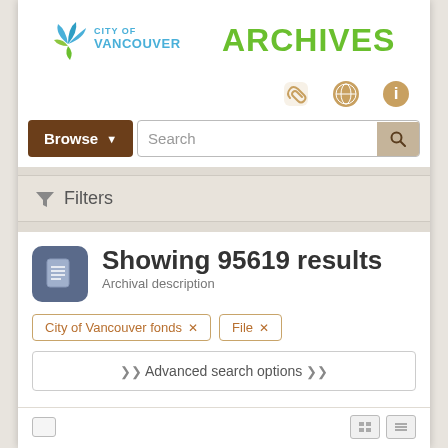[Figure (logo): City of Vancouver Archives logo with leaf/flower icon and text]
[Figure (infographic): Three icon buttons: paperclip, globe, info circle]
Browse (dropdown) | Search (search box)
Filters
Showing 95619 results
Archival description
City of Vancouver fonds ×
File ×
❯❯ Advanced search options ❮❮